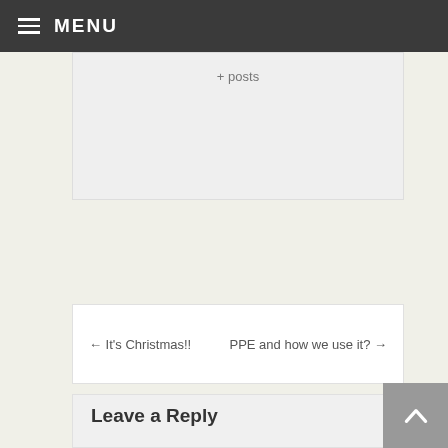MENU
+ posts
← It's Christmas!!    PPE and how we use it? →
Leave a Reply
Your email address will not be published. Required fields are marked *
Comment *